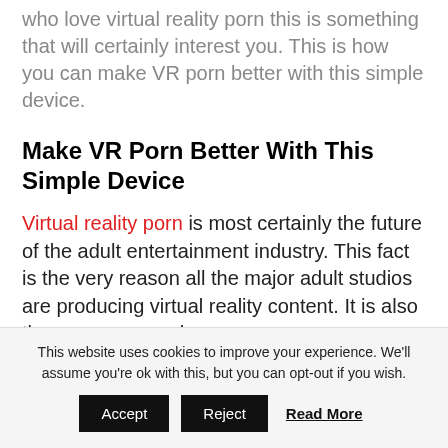if you are one of the ever growing number of guys who love virtual reality porn this is something that will certainly interest you. This is how you can make VR porn better with this simple device.
Make VR Porn Better With This Simple Device
Virtual reality porn is most certainly the future of the adult entertainment industry. This fact is the very reason all the major adult studios are producing virtual reality content. It is also the very reason why so many virtual reality specific director...
This website uses cookies to improve your experience. We'll assume you're ok with this, but you can opt-out if you wish. Accept Reject Read More